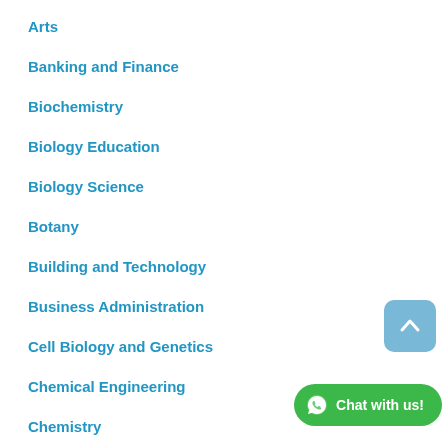Arts
Banking and Finance
Biochemistry
Biology Education
Biology Science
Botany
Building and Technology
Business Administration
Cell Biology and Genetics
Chemical Engineering
Chemistry
Chemistry Education
Civil Engineering (partially visible)